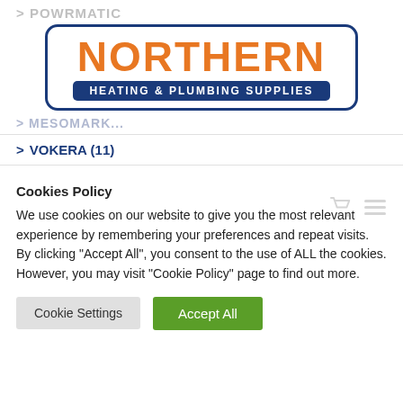> POWRMATIC
[Figure (logo): Northern Heating & Plumbing Supplies logo: orange bold NORTHERN text above a dark blue banner reading HEATING & PLUMBING SUPPLIES, enclosed in a dark blue rounded rectangle border.]
> MESOMARK...
> VOKERA (11)
Cookies Policy
We use cookies on our website to give you the most relevant experience by remembering your preferences and repeat visits. By clicking "Accept All", you consent to the use of ALL the cookies. However, you may visit "Cookie Policy" page to find out more.
Cookie Settings | Accept All